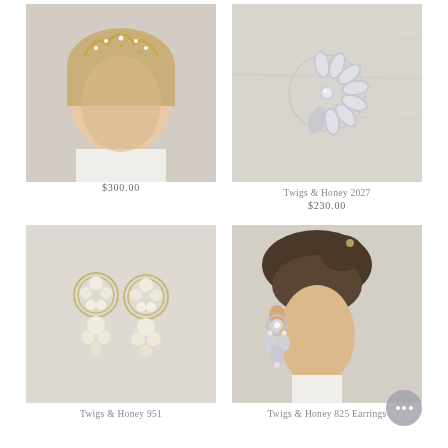[Figure (photo): Woman wearing a gold floral crystal crown/tiara headpiece, blonde hair, white dress, eyes closed, soft studio lighting.]
[Figure (photo): Silver floral crystal hair comb/clip accessory with leaf and floral details on a light wooden background. Product: Twigs & Honey 2027.]
Twigs & Honey 2027
$300.00
$230.00
[Figure (photo): Pair of delicate floral fabric and crystal drop earrings in cream/ivory and gold tones on a linen background. Product: Twigs & Honey 951.]
[Figure (photo): Woman with dark updo hair wearing large crystal and pearl floral hoop drop earrings. Product: Twigs & Honey 825 Earrings.]
Twigs & Honey 951
Twigs & Honey 825 Earrings